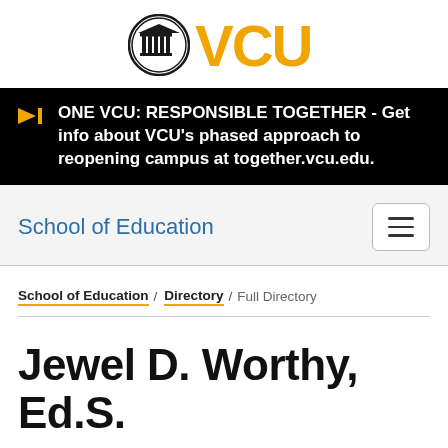[Figure (logo): VCU (Virginia Commonwealth University) logo with black circular seal icon and gold bold 'VCU' text]
ONE VCU: RESPONSIBLE TOGETHER - Get info about VCU's phased approach to reopening campus at together.vcu.edu.
School of Education
School of Education / Directory / Full Directory
Jewel D. Worthy, Ed.S.